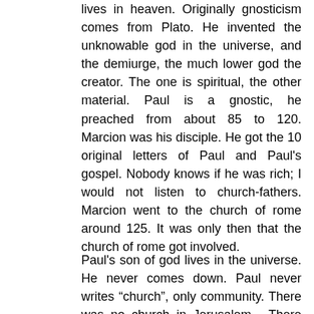lives in heaven. Originally gnosticism comes from Plato. He invented the unknowable god in the universe, and the demiurge, the much lower god the creator. The one is spiritual, the other material. Paul is a gnostic, he preached from about 85 to 120. Marcion was his disciple. He got the 10 original letters of Paul and Paul's gospel. Nobody knows if he was rich; I would not listen to church-fathers. Marcion went to the church of rome around 125. It was only then that the church of rome got involved.
Paul's son of god lives in the universe. He never comes down. Paul never writes “church”, only community. There was no church in Jerusalem. There was no church anywhere